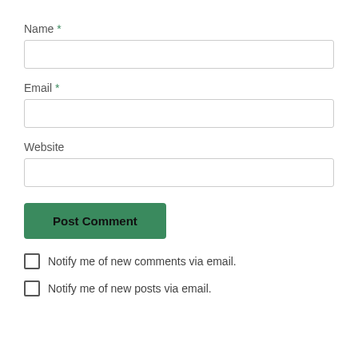Name *
Email *
Website
Post Comment
Notify me of new comments via email.
Notify me of new posts via email.